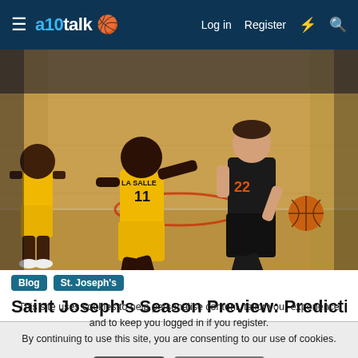a10talk — Log in  Register
[Figure (photo): Basketball game action shot: a player in black uniform #22 dribbling past a La Salle player #11 in yellow uniform on an indoor hardwood court]
Blog
St. Joseph's
Saint Joseph's Season Preview: Predicting Records,
This site uses cookies to help personalise content, tailor your experience and to keep you logged in if you register.
By continuing to use this site, you are consenting to our use of cookies.
✓ Accept   Learn more...